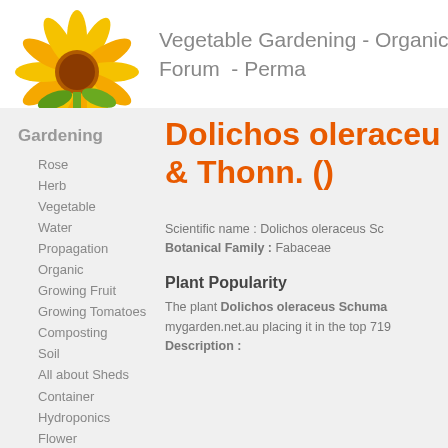Vegetable Gardening - Organic Garden Forum - Perma
[Figure (illustration): Sunflower illustration used as website logo in the page header]
Gardening
Rose
Herb
Vegetable
Water
Propagation
Organic
Growing Fruit
Growing Tomatoes
Composting
Soil
All about Sheds
Container
Hydroponics
Flower
Dolichos oleraceu & Thonn. ()
Scientific name : Dolichos oleraceus Sc Botanical Family : Fabaceae
Plant Popularity
The plant Dolichos oleraceus Schuma mygarden.net.au placing it in the top 719 Description :